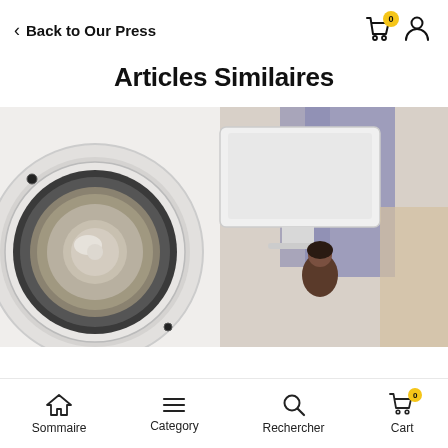Back to Our Press
Articles Similaires
[Figure (photo): Close-up of a white speaker/woofer on the left and an iMac computer with a figurine in the background on the right]
Sommaire  Category  Rechercher  Cart